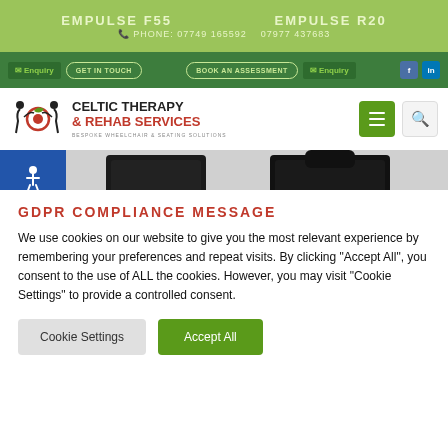EMPULSE F55   PHONE: 07749 165592   07977 437683   EMPULSE R20
[Figure (screenshot): Navigation bar with GET IN TOUCH and BOOK AN ASSESSMENT buttons, Enquiry links, Facebook and LinkedIn icons on green background]
[Figure (logo): Celtic Therapy & Rehab Services logo with wheelchair icon and text: CELTIC THERAPY & REHAB SERVICES, BESPOKE WHEELCHAIR & SEATING SOLUTIONS]
[Figure (photo): Two manual wheelchairs side by side - left one blue frame (Empulse F55), right one red/black frame (Empulse R20), with accessibility sidebar icons on left]
GDPR COMPLIANCE MESSAGE
We use cookies on our website to give you the most relevant experience by remembering your preferences and repeat visits. By clicking "Accept All", you consent to the use of ALL the cookies. However, you may visit "Cookie Settings" to provide a controlled consent.
Cookie Settings   Accept All